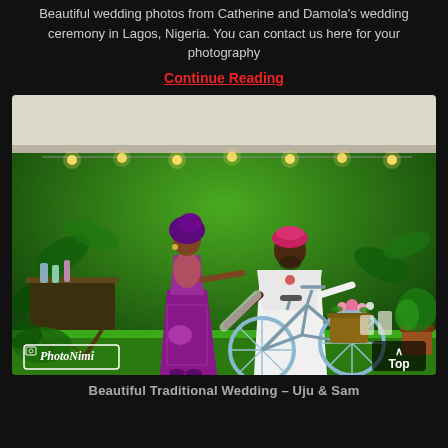Beautiful wedding photos from Catherine and Damola's wedding ceremony in Lagos, Nigeria. You can contact us here for your photography
Continue Reading
[Figure (photo): A couple in traditional Nigerian wedding attire posing with a bicycle against a green plant wall backdrop with string lights. The woman wears a purple dress and gele headwrap; the man wears a white agbada and pink fila cap. A table with drinks is visible on the left, and a bicycle with a flower basket is on the right. PhotoNimi watermark in bottom left corner.]
Beautiful Traditional Wedding – Uju & Sam